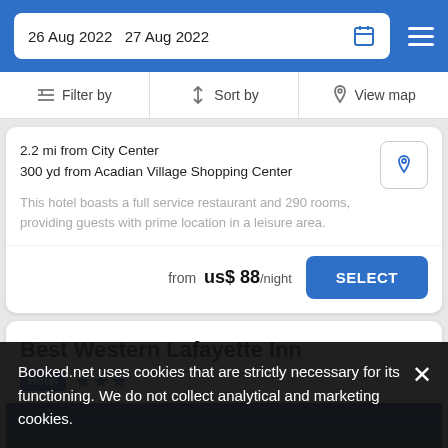26 Aug 2022  27 Aug 2022
Filter by  Sort by  View map
2.2 mi from City Center
300 yd from Acadian Village Shopping Center
This hotel boasts a full service restaurant and 290 rooms, providing guests with prime location in a leisure area.
from  US$ 88/night
Best Western Lafayette Inn
Hotel ★★★
Booked.net uses cookies that are strictly necessary for its functioning. We do not collect analytical and marketing cookies.